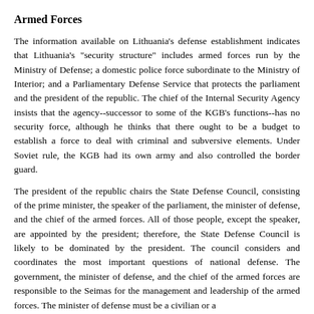Armed Forces
The information available on Lithuania's defense establishment indicates that Lithuania's "security structure" includes armed forces run by the Ministry of Defense; a domestic police force subordinate to the Ministry of Interior; and a Parliamentary Defense Service that protects the parliament and the president of the republic. The chief of the Internal Security Agency insists that the agency--successor to some of the KGB's functions--has no security force, although he thinks that there ought to be a budget to establish a force to deal with criminal and subversive elements. Under Soviet rule, the KGB had its own army and also controlled the border guard.
The president of the republic chairs the State Defense Council, consisting of the prime minister, the speaker of the parliament, the minister of defense, and the chief of the armed forces. All of those people, except the speaker, are appointed by the president; therefore, the State Defense Council is likely to be dominated by the president. The council considers and coordinates the most important questions of national defense. The government, the minister of defense, and the chief of the armed forces are responsible to the Seimas for the management and leadership of the armed forces. The minister of defense must be a civilian or a